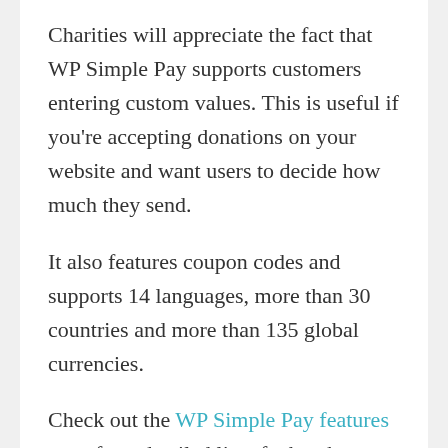Charities will appreciate the fact that WP Simple Pay supports customers entering custom values. This is useful if you're accepting donations on your website and want users to decide how much they send.
It also features coupon codes and supports 14 languages, more than 30 countries and more than 135 global currencies.
Check out the WP Simple Pay features page for a detailed list of what the plugin can do.
Amazing Front-End